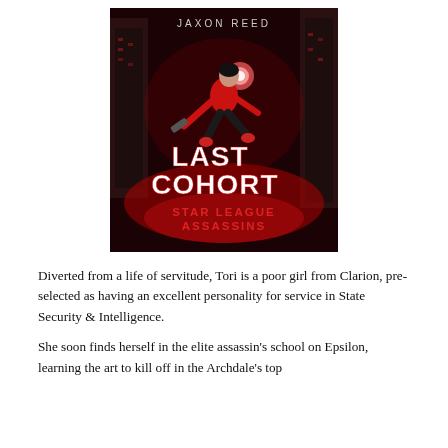[Figure (illustration): Book cover for 'Last Cohort: Star League Assassins' by Jaxon Reed. Shows a woman in a black and red sci-fi suit leaping/running in an action pose against a dark red futuristic cityscape background. Large stylized white and red text reads 'LAST COHORT' with 'STAR LEAGUE ASSASSINS' below. Author name 'JAXON REED' appears at the top.]
Diverted from a life of servitude, Tori is a poor girl from Clarion, pre-selected as having an excellent personality for service in State Security & Intelligence.
She soon finds herself in the elite assassin's school on Epsilon, learning the art to kill off in the Archdale's top...